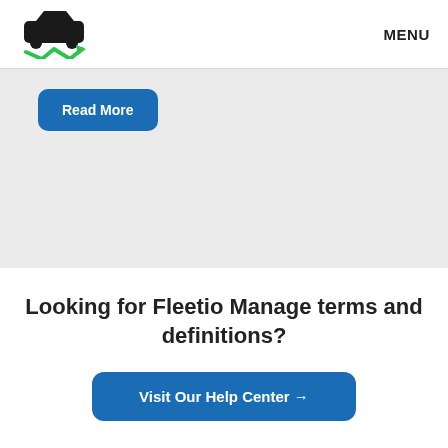MENU
[Figure (logo): Fleetio logo — black car icon with green checkmark arrow underneath]
Read More
Looking for Fleetio Manage terms and definitions?
Visit Our Help Center →